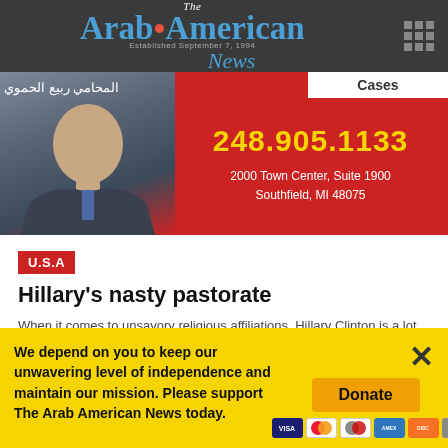The Arab American News — Established September 7, 1984
[Figure (infographic): Advertisement banner for Arabic-speaking lawyer Rabie Al-Haddawi with phone number 248.905.1133 and address 2000 Town Center, Suite 1900, Southfield, MI 48075. Red background with man in suit and Arabic text.]
U.S.A
Hillary's nasty pastorate
When it comes to unsavory religious affiliations, Hillary Clinton is a lot more…
We depend on you to keep our unwavering level of independence and maintain our mission. Please support The Arab American News today.